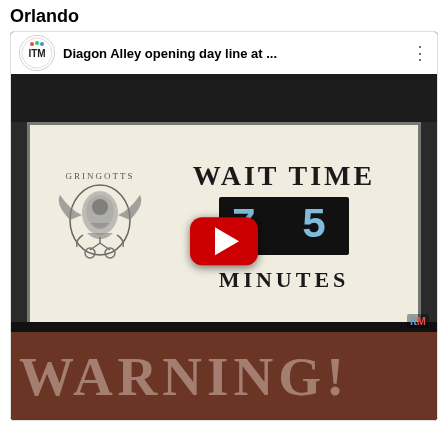Orlando
[Figure (screenshot): YouTube video thumbnail showing a Gringotts Wait Time sign at Diagon Alley, Universal Orlando, displaying 75 minutes. Video title reads 'Diagon Alley opening day line at ...' from ITM channel. A 'WARNING!' sign is visible below.]